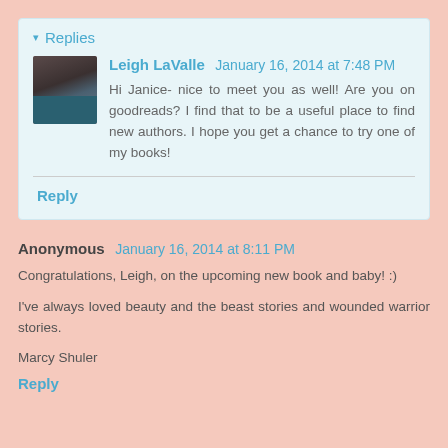▾ Replies
Leigh LaValle January 16, 2014 at 7:48 PM
Hi Janice- nice to meet you as well! Are you on goodreads? I find that to be a useful place to find new authors. I hope you get a chance to try one of my books!
Reply
Anonymous January 16, 2014 at 8:11 PM
Congratulations, Leigh, on the upcoming new book and baby! :)
I've always loved beauty and the beast stories and wounded warrior stories.
Marcy Shuler
Reply